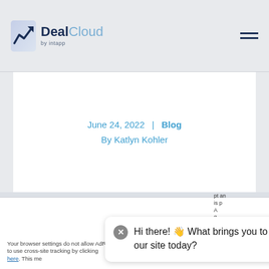DealCloud by Intapp
June 24, 2022 | Blog
By Katlyn Kohler
Your browser settings do not allow AdRoll to use cross-site tracking by clicking here. This me
Hi there! 👋 What brings you to our site today?